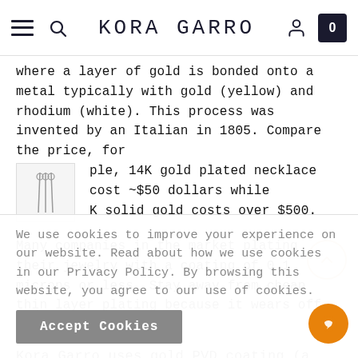KORA GARRO — navigation bar with hamburger menu, search icon, logo, user icon, and cart (0)
where a layer of gold is bonded onto a metal typically with gold (yellow) and rhodium (white). This process was invented by an Italian in 1805. Compare the price, for ple, 14K gold plated necklace cost ~$50 dollars while K solid gold costs over $500.
Many companies in the market plating their jewelry with a coating of 0.1 microns or less. Stay away from cheap thin layer plating because it wears off quite quickly.
Kora Garro uses gold PVD coating (a vacuum coating
We use cookies to improve your experience on our website. Read about how we use cookies in our Privacy Policy. By browsing this website, you agree to our use of cookies.